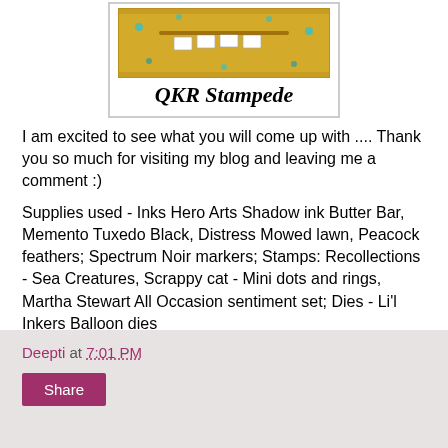[Figure (logo): QKR Stampede logo with yellow illustrated banner image and stylized text 'QKR Stampede' below]
I am excited to see what you will come up with .... Thank you so much for visiting my blog and leaving me a comment :)
Supplies used - Inks Hero Arts Shadow ink Butter Bar, Memento Tuxedo Black, Distress Mowed lawn, Peacock feathers; Spectrum Noir markers; Stamps: Recollections - Sea Creatures, Scrappy cat - Mini dots and rings, Martha Stewart All Occasion sentiment set; Dies - Li'l Inkers Balloon dies
Deepti at 7:01 PM
Share